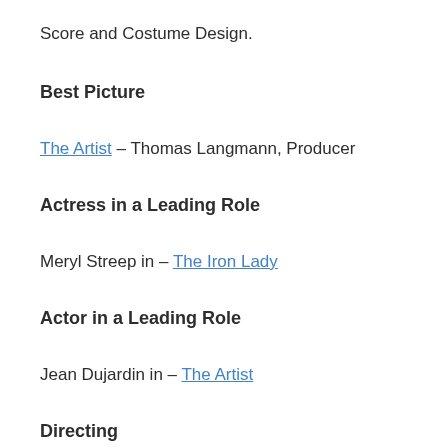Score and Costume Design.
Best Picture
The Artist – Thomas Langmann, Producer
Actress in a Leading Role
Meryl Streep in – The Iron Lady
Actor in a Leading Role
Jean Dujardin in – The Artist
Directing